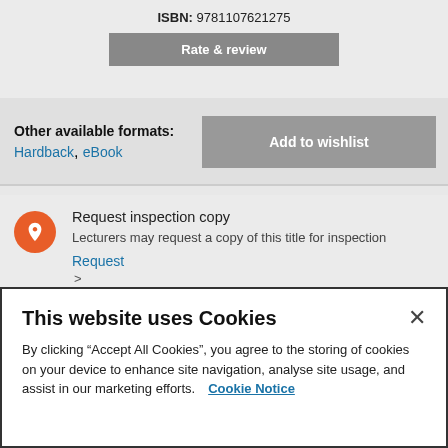ISBN: 9781107621275
Rate & review
Other available formats: Hardback, eBook
Add to wishlist
Request inspection copy
Lecturers may request a copy of this title for inspection
Request
This website uses Cookies
By clicking “Accept All Cookies”, you agree to the storing of cookies on your device to enhance site navigation, analyse site usage, and assist in our marketing efforts. Cookie Notice